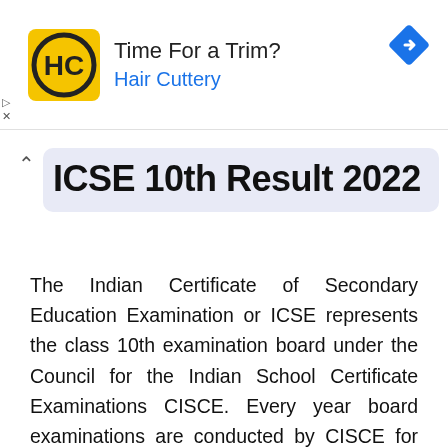[Figure (other): Advertisement banner for Hair Cuttery with logo, tagline 'Time For a Trim?', and navigation icon]
ICSE 10th Result 2022
The Indian Certificate of Secondary Education Examination or ICSE represents the class 10th examination board under the Council for the Indian School Certificate Examinations CISCE. Every year board examinations are conducted by CISCE for classes 10th and 12th. This year, the exams were held in semester format. The first semester examinations were of the objective type. The Board conducted the semester 2